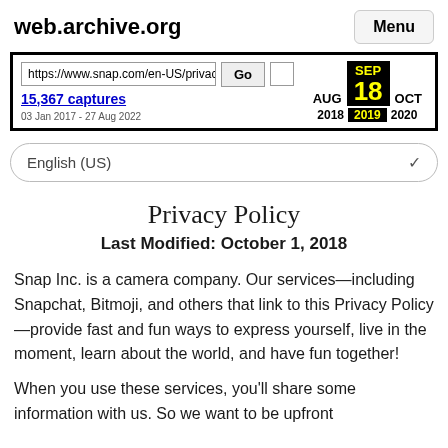web.archive.org   Menu
[Figure (screenshot): Wayback Machine toolbar showing URL https://www.snap.com/en-US/privac, Go button, calendar showing AUG SEP 18 OCT and years 2018 2019 2020, with 15,367 captures 03 Jan 2017 - 27 Aug 2022]
English (US)
Privacy Policy
Last Modified: October 1, 2018
Snap Inc. is a camera company. Our services—including Snapchat, Bitmoji, and others that link to this Privacy Policy—provide fast and fun ways to express yourself, live in the moment, learn about the world, and have fun together!
When you use these services, you'll share some information with us. So we want to be upfront